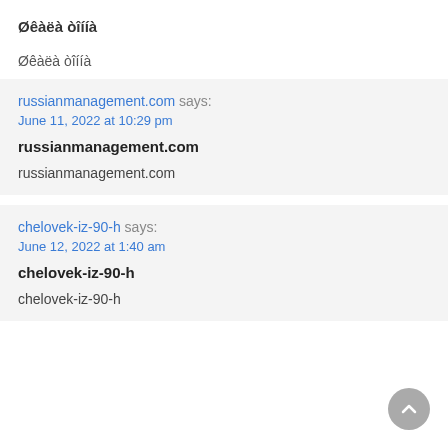Øêàëà òîííà
Øêàëà òîííà
russianmanagement.com says:
June 11, 2022 at 10:29 pm
russianmanagement.com
russianmanagement.com
chelovek-iz-90-h says:
June 12, 2022 at 1:40 am
chelovek-iz-90-h
chelovek-iz-90-h